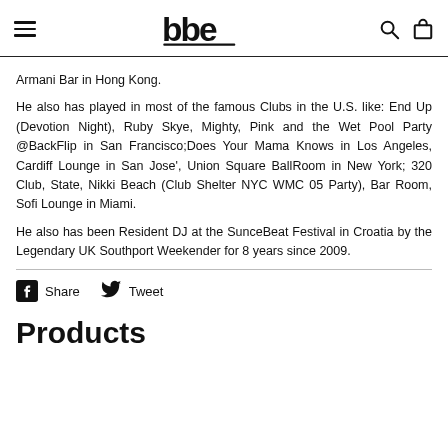bbe (logo) / hamburger menu / search / cart
Armani Bar in Hong Kong.
He also has played in most of the famous Clubs in the U.S. like: End Up (Devotion Night), Ruby Skye, Mighty, Pink and the Wet Pool Party @BackFlip in San Francisco;Does Your Mama Knows in Los Angeles, Cardiff Lounge in San Jose', Union Square BallRoom in New York; 320 Club, State, Nikki Beach (Club Shelter NYC WMC 05 Party), Bar Room, Sofi Lounge in Miami.
He also has been Resident DJ at the SunceBeat Festival in Croatia by the Legendary UK Southport Weekender for 8 years since 2009.
Share  Tweet
Products